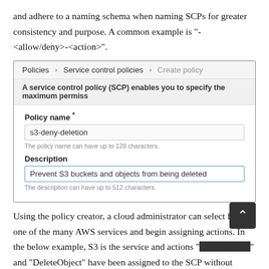and adhere to a naming schema when naming SCPs for greater consistency and purpose. A common example is "<AWS Service>-<allow/deny>-<action>".
[Figure (screenshot): AWS Service Control Policies UI screenshot showing breadcrumb navigation (Policies > Service control policies > Create policy), a description banner, a Policy name field filled with 's3-deny-deletion', a hint 'The policy name can have up to 128 characters.', a Description label, and a Description field filled with 'Prevent S3 buckets and objects from being deleted' with hint 'The description can have up to 512 characters.']
Using the policy creator, a cloud administrator can select from one of the many AWS services and begin assigning actions. In the below example, S3 is the service and actions "DeleteBucket" and "DeleteObject" have been assigned to the SCP without